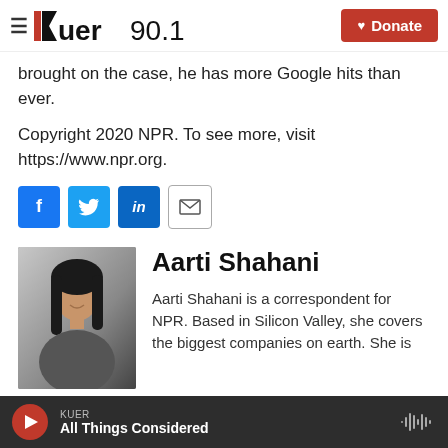KUER 90.1 — Donate
brought on the case, he has more Google hits than ever.
Copyright 2020 NPR. To see more, visit https://www.npr.org.
[Figure (infographic): Social share buttons: Facebook, Twitter, LinkedIn, Email]
[Figure (photo): Headshot of Aarti Shahani]
Aarti Shahani
Aarti Shahani is a correspondent for NPR. Based in Silicon Valley, she covers the biggest companies on earth. She is
KUER All Things Considered